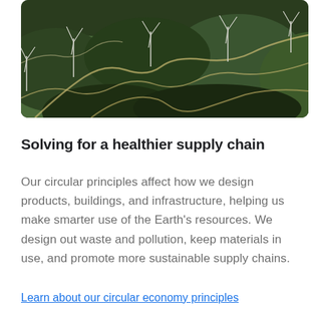[Figure (photo): Aerial photograph of rolling green hills with wind turbines and winding roads/paths]
Solving for a healthier supply chain
Our circular principles affect how we design products, buildings, and infrastructure, helping us make smarter use of the Earth’s resources. We design out waste and pollution, keep materials in use, and promote more sustainable supply chains.
Learn about our circular economy principles